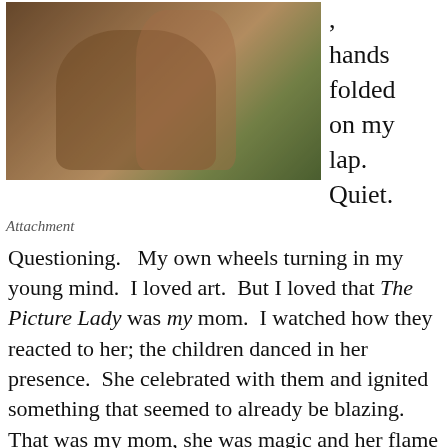[Figure (photo): Vintage photo of two people (a woman and child) embracing outdoors near a wooden fence, warm brownish tones.]
, hands folded on my lap. Quiet.
Attachment
Questioning.   My own wheels turning in my young mind.  I loved art.  But I loved that The Picture Lady was my mom.  I watched how they reacted to her; the children danced in her presence.  She celebrated with them and ignited something that seemed to already be blazing.  That was my mom, she was magic and her flame warmed me.
We cuddled on Sundays when Dad was at work.